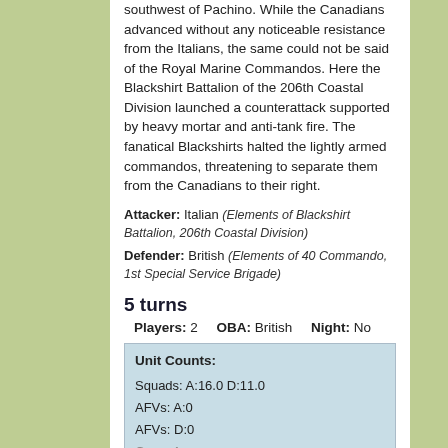southwest of Pachino. While the Canadians advanced without any noticeable resistance from the Italians, the same could not be said of the Royal Marine Commandos. Here the Blackshirt Battalion of the 206th Coastal Division launched a counterattack supported by heavy mortar and anti-tank fire. The fanatical Blackshirts halted the lightly armed commandos, threatening to separate them from the Canadians to their right.
Attacker: Italian (Elements of Blackshirt Battalion, 206th Coastal Division)
Defender: British (Elements of 40 Commando, 1st Special Service Brigade)
5 turns
Players: 2   OBA: British   Night: No
| Unit Counts: |
| --- |
| Squads: A:16.0 D:11.0 |
| AFVs: A:0 |
| AFVs: D:0 |